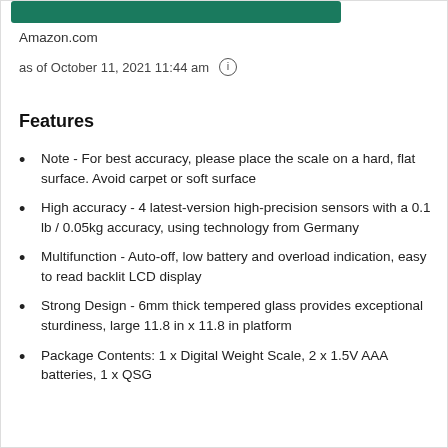[Figure (other): Green bar/button element at top of page]
Amazon.com
as of October 11, 2021 11:44 am ℹ
Features
Note - For best accuracy, please place the scale on a hard, flat surface. Avoid carpet or soft surface
High accuracy - 4 latest-version high-precision sensors with a 0.1 lb / 0.05kg accuracy, using technology from Germany
Multifunction - Auto-off, low battery and overload indication, easy to read backlit LCD display
Strong Design - 6mm thick tempered glass provides exceptional sturdiness, large 11.8 in x 11.8 in platform
Package Contents: 1 x Digital Weight Scale, 2 x 1.5V AAA batteries, 1 x QSG